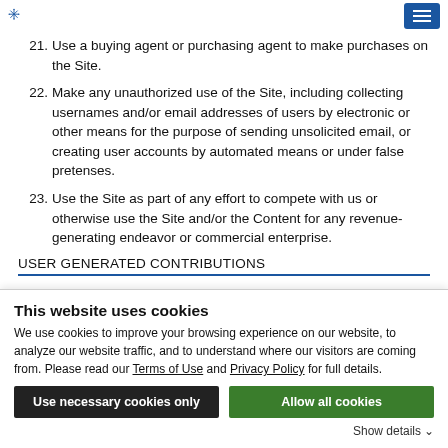[Logo] [Hamburger menu button]
21. Use a buying agent or purchasing agent to make purchases on the Site.
22. Make any unauthorized use of the Site, including collecting usernames and/or email addresses of users by electronic or other means for the purpose of sending unsolicited email, or creating user accounts by automated means or under false pretenses.
23. Use the Site as part of any effort to compete with us or otherwise use the Site and/or the Content for any revenue-generating endeavor or commercial enterprise.
USER GENERATED CONTRIBUTIONS
This website uses cookies
We use cookies to improve your browsing experience on our website, to analyze our website traffic, and to understand where our visitors are coming from. Please read our Terms of Use and Privacy Policy for full details.
Use necessary cookies only
Allow all cookies
Show details